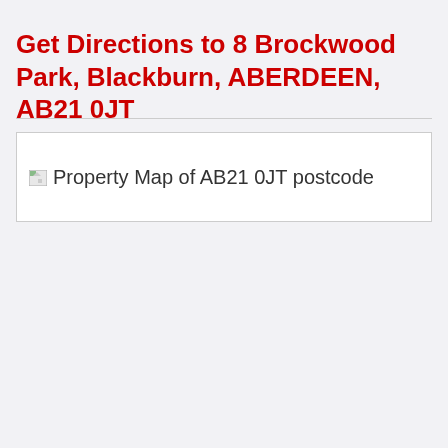Get Directions to 8 Brockwood Park, Blackburn, ABERDEEN, AB21 0JT
[Figure (map): Broken/unloaded map image with alt text: Property Map of AB21 0JT postcode]